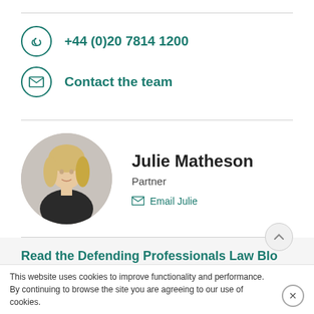+44 (0)20 7814 1200
Contact the team
Julie Matheson
Partner
Email Julie
Read the Defending Professionals Law Blo
This website uses cookies to improve functionality and performance. By continuing to browse the site you are agreeing to our use of cookies.